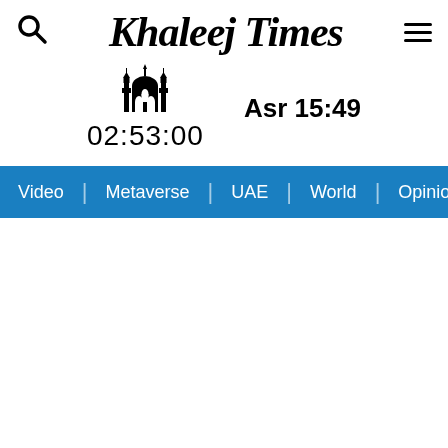Khaleej Times
Asr 15:49
02:53:00
Video | Metaverse | UAE | World | Opinion | I >